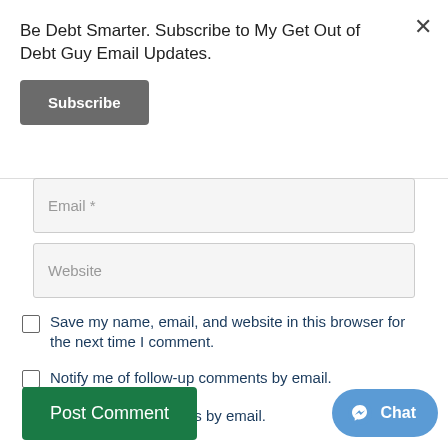Be Debt Smarter. Subscribe to My Get Out of Debt Guy Email Updates.
Subscribe
Email *
Website
Save my name, email, and website in this browser for the next time I comment.
Notify me of follow-up comments by email.
Notify me of new posts by email.
Post Comment
Chat